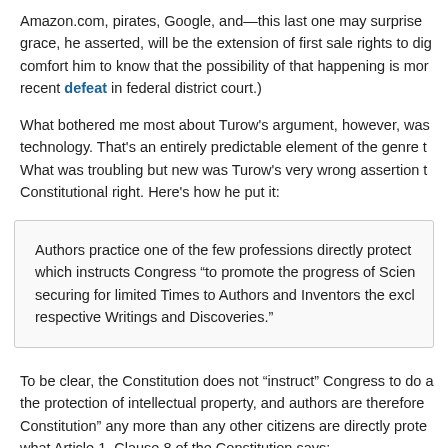Amazon.com, pirates, Google, and—this last one may surprise grace, he asserted, will be the extension of first sale rights to digital works. comfort him to know that the possibility of that happening is more recent defeat in federal district court.)
What bothered me most about Turow's argument, however, was technology. That's an entirely predictable element of the genre that What was troubling but new was Turow's very wrong assertion that Constitutional right. Here's how he put it:
Authors practice one of the few professions directly protected by which instructs Congress "to promote the progress of Science securing for limited Times to Authors and Inventors the exclusive respective Writings and Discoveries."
To be clear, the Constitution does not "instruct" Congress to do anything regarding the protection of intellectual property, and authors are therefore not directly protected by the Constitution any more than any other citizens are directly protected. Here is what Article 1, Clause 8 of the Constitution says: